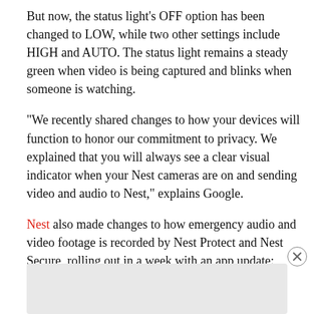But now, the status light's OFF option has been changed to LOW, while two other settings include HIGH and AUTO. The status light remains a steady green when video is being captured and blinks when someone is watching.
“We recently shared changes to how your devices will function to honor our commitment to privacy. We explained that you will always see a clear visual indicator when your Nest cameras are on and sending video and audio to Nest,” explains Google.
Nest also made changes to how emergency audio and video footage is recorded by Nest Protect and Nest Secure, rolling out in a week with an app update:
[Figure (other): Advertisement box with close button (X in circle) in bottom right corner, light grey rectangle below]